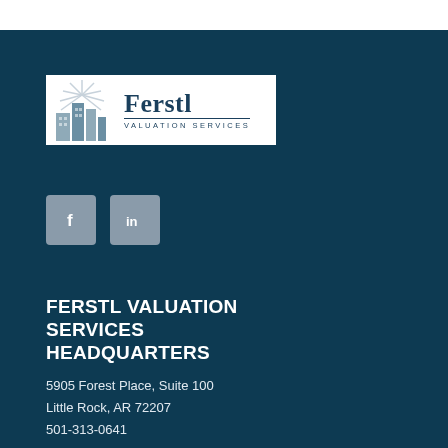[Figure (logo): Ferstl Valuation Services logo with sunburst/buildings icon and company name]
[Figure (other): Social media icons: Facebook (f) and LinkedIn (in) buttons with grey rounded square backgrounds]
FERSTL VALUATION SERVICES HEADQUARTERS
5905 Forest Place, Suite 100
Little Rock, AR 72207
501-313-0641